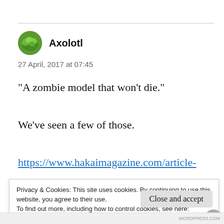[Figure (illustration): Circular avatar showing green foliage/plant illustration]
Axolotl
27 April, 2017 at 07:45
“A zombie model that won’t die.”
We’ve seen a few of those.
https://www.hakaimagazine.com/article-
Privacy & Cookies: This site uses cookies. By continuing to use this website, you agree to their use.
To find out more, including how to control cookies, see here:
Cookie Policy
Close and accept